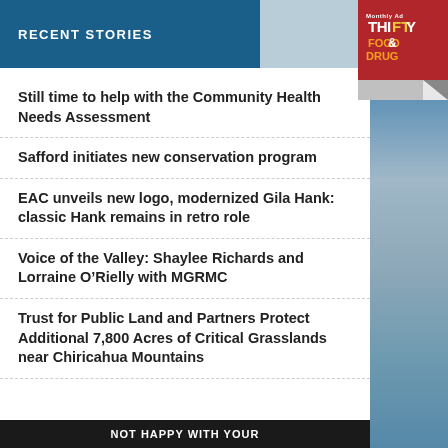RECENT STORIES
Still time to help with the Community Health Needs Assessment
Safford initiates new conservation program
EAC unveils new logo, modernized Gila Hank: classic Hank remains in retro role
Voice of the Valley: Shaylee Richards and Lorraine O’Rielly with MGRMC
Trust for Public Land and Partners Protect Additional 7,800 Acres of Critical Grasslands near Chiricahua Mountains
NOT HAPPY WITH YOUR